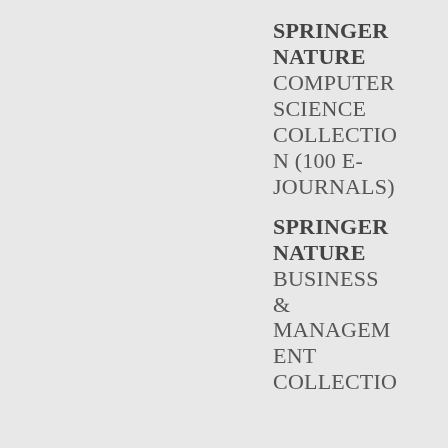SPRINGER NATURE COMPUTER SCIENCE COLLECTION (100 E-JOURNALS)
SPRINGER NATURE BUSINESS & MANAGEMENT COLLECTIO